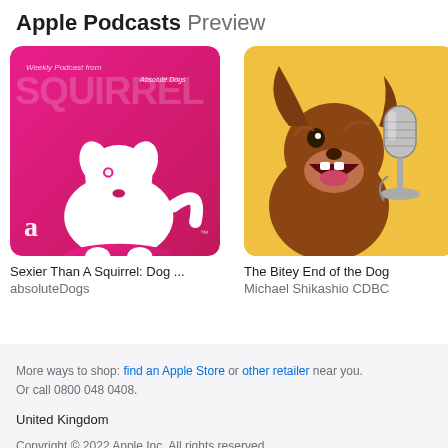Apple Podcasts Preview
[Figure (screenshot): Podcast thumbnail for Sexier Than A Squirrel: Dog podcast by absoluteDogs — pink/magenta background with white dog silhouette logo and text 'Weekly Podcast from Absolute Dogs']
Sexier Than A Squirrel: Dog ...
absoluteDogs
[Figure (screenshot): Podcast thumbnail for The Bitey End of the Dog — yellow background with a brown dog barking at a vintage microphone]
The Bitey End of the Dog
Michael Shikashio CDBC
[Figure (screenshot): Partial podcast thumbnail — blue/teal color, partially cropped, with text 'Dri...' and 'Ha...']
More ways to shop: find an Apple Store or other retailer near you.
Or call 0800 048 0408.

United Kingdom

Copyright © 2022 Apple Inc. All rights reserved.
Privacy Policy | Use of Cookies | Terms of Use | Sales and Refunds | Legal | Site Map